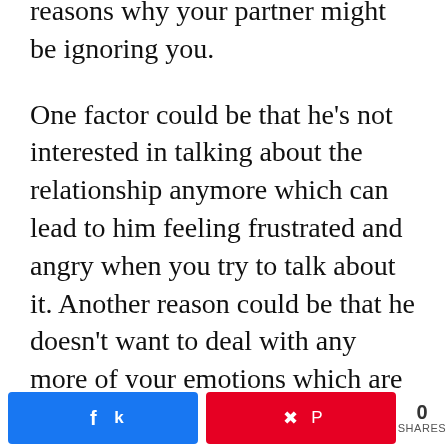reasons why your partner might be ignoring you.
One factor could be that he’s not interested in talking about the relationship anymore which can lead to him feeling frustrated and angry when you try to talk about it. Another reason could be that he doesn’t want to deal with any more of your emotions which are probably running high at this point.
2. he makes excuses.
If your guy is always making excuses for why